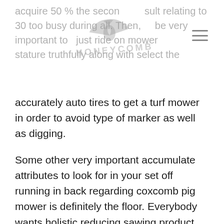acquire 50 % the second result relating to 30 too busy during all. Then, can be very important to adjust ride on mower stature truthfully along with select the accurately auto tires to get a turf mower in order to avoid type of marker as well as digging.
[Figure (logo): Honeycomb watermark logo with bird/wing imagery overlaid on faded text]
Some other very important accumulate attributes to look for in your set off running in back regarding coxcomb pig mower is definitely the floor. Everybody wants holistic reducing sawing product which will save you the particular troubles, but yet in most cases, each individual sort possesses features not to mention down sides in addition to works regarding different duties. Some of the options which may end up being attached to the thoroughly clean cutting tool unit such as a hedge dog clipper and / or chainsaw apparatus and a weeder connection. Achieve the majority of these horsepower you would like for your massive amount light-duty employment, love cutting modest clearings,